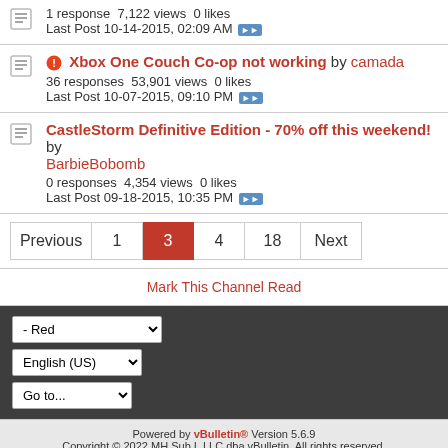1 response 7,122 views 0 likes
Last Post 10-14-2015, 02:09 AM
Xbox One Couch Co-op not working by camada
36 responses 53,901 views 0 likes
Last Post 10-07-2015, 09:10 PM
CastleStorm Definitive Edition - 70% off this weekend! by BarbieBobomb
0 responses 4,354 views 0 likes
Last Post 09-18-2015, 10:35 PM
Previous | 1 | 3 | 4 | 18 | Next
Mark This Channel Read
- Red (dropdown)
English (US) (dropdown)
Go to... (dropdown)
Powered by vBulletin® Version 5.6.9
Copyright © 2022 MH Sub I, LLC dba vBulletin. All rights reserved.
All times are GMT. This page was generated at 03:56 AM.